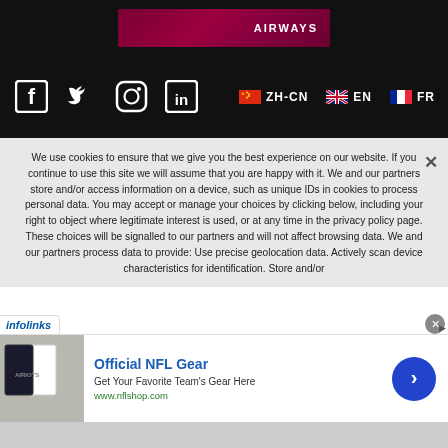[Figure (screenshot): Airways airline advertisement banner with dark maroon/crimson background and AIRWAYS text in white]
[Figure (screenshot): Social media icons (Facebook, Twitter, Instagram, LinkedIn) and language selectors (ZH-CN, EN, FR) on black background]
We use cookies to ensure that we give you the best experience on our website. If you continue to use this site we will assume that you are happy with it. We and our partners store and/or access information on a device, such as unique IDs in cookies to process personal data. You may accept or manage your choices by clicking below, including your right to object where legitimate interest is used, or at any time in the privacy policy page. These choices will be signalled to our partners and will not affect browsing data. We and our partners process data to provide: Use precise geolocation data. Actively scan device characteristics for identification. Store and/or
[Figure (screenshot): Infolinks advertising label overlay]
[Figure (screenshot): Official NFL Gear advertisement with jersey image, blue arrow button, www.nflshop.com URL]